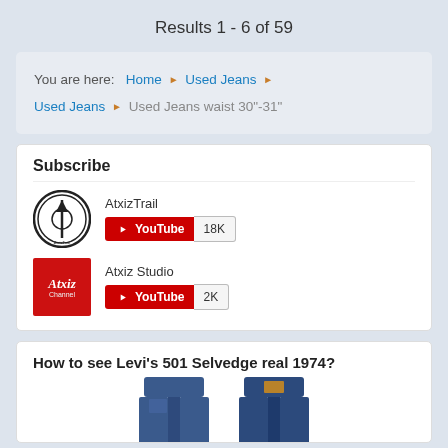Results 1 - 6 of 59
You are here: Home ▶ Used Jeans ▶ Used Jeans ▶ Used Jeans waist 30"-31"
Subscribe
AtxizTrail
YouTube 18K
Atxiz Studio
YouTube 2K
How to see Levi's 501 Selvedge real 1974?